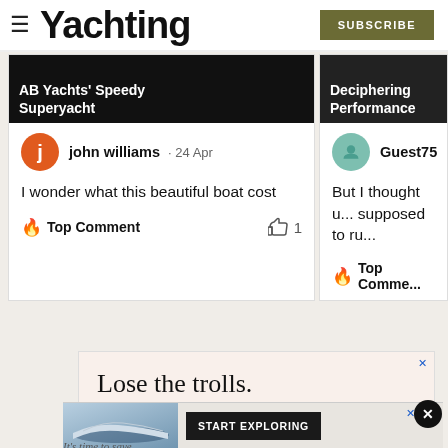Yachting — SUBSCRIBE
[Figure (screenshot): Two comment cards side by side under article thumbnails. Left card: dark photo with white text 'AB Yachts' Speedy Superyacht', user 'john williams · 24 Apr', comment 'I wonder what this beautiful boat cost', Top Comment badge, 1 like. Right card partially visible: 'Deciphering Performance', user 'Guest75', comment 'But I thought u... supposed to ru...', Top Comment badge.]
[Figure (screenshot): Advertisement: pink/cream background. Large serif text 'Lose the trolls.' and italic 'Keep the comments.']
[Figure (screenshot): Bottom banner ad with yacht image and 'START EXPLORING' CTA button, with 'It's time to save' text partially visible.]